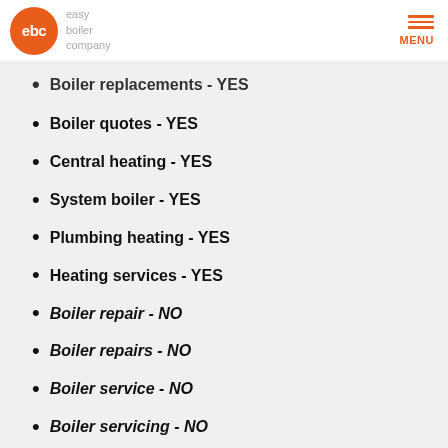[Figure (logo): Easy Boiler Company logo: orange circle with 'ebc' text in white, followed by 'easy boiler company' text in grey. Menu icon (three orange horizontal lines) with 'MENU' label on the right.]
Boiler replacements - YES (partially visible, cut off at top)
Boiler quotes - YES
Central heating - YES
System boiler - YES
Plumbing heating - YES
Heating services - YES
Boiler repair - NO
Boiler repairs - NO
Boiler service - NO
Boiler servicing - NO
Start Your Quote